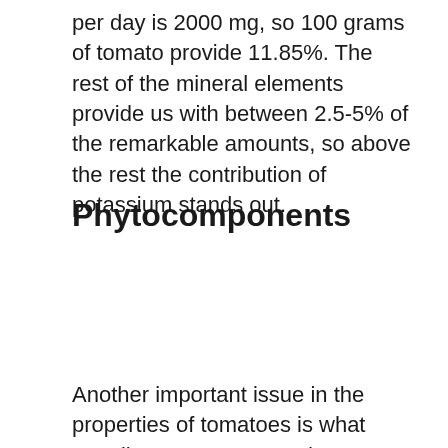per day is 2000 mg, so 100 grams of tomato provide 11.85%. The rest of the mineral elements provide us with between 2.5-5% of the remarkable amounts, so above the rest the contribution of potassium stands out.
Phytocomponents
Another important issue in the properties of tomatoes is what contributes to compounds